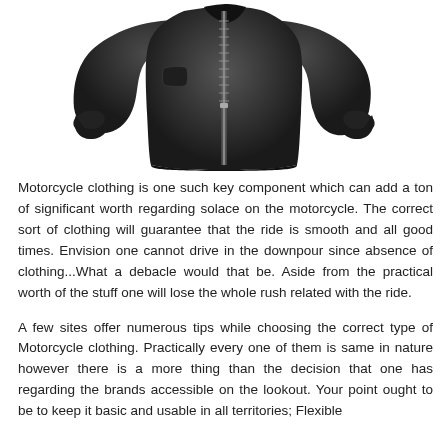[Figure (photo): A black motorcycle jacket (zip-up, fitted style) photographed against a white background, showing the front zipper, sleeves with cuffed ends, and side pockets.]
Motorcycle clothing is one such key component which can add a ton of significant worth regarding solace on the motorcycle. The correct sort of clothing will guarantee that the ride is smooth and all good times. Envision one cannot drive in the downpour since absence of clothing...What a debacle would that be. Aside from the practical worth of the stuff one will lose the whole rush related with the ride.
A few sites offer numerous tips while choosing the correct type of Motorcycle clothing. Practically every one of them is same in nature however there is a more thing than the decision that one has regarding the brands accessible on the lookout. Your point ought to be to keep it basic and usable in all territories; Flexible